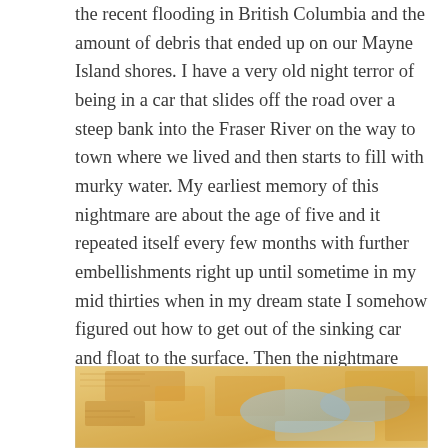the recent flooding in British Columbia and the amount of debris that ended up on our Mayne Island shores. I have a very old night terror of being in a car that slides off the road over a steep bank into the Fraser River on the way to town where we lived and then starts to fill with murky water. My earliest memory of this nightmare are about the age of five and it repeated itself every few months with further embellishments right up until sometime in my mid thirties when in my dream state I somehow figured out how to get out of the sinking car and float to the surface. Then the nightmare never came back except as a waking memory now and again and when watching and reading about the flood mudslide victims.
[Figure (photo): Partial view of a painting or photograph showing warm yellow/orange and blue tones, appearing to depict a flooded or watery landscape scene.]